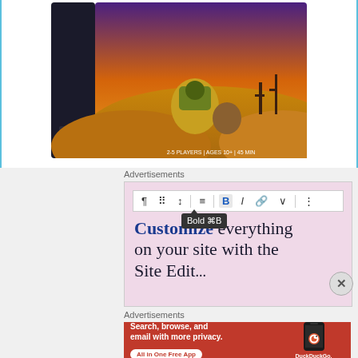[Figure (photo): Board game box titled 'Forbidden Desert' shown at an angle, featuring illustrated desert scene with robots/characters on sand dunes under dramatic sky]
Advertisements
[Figure (screenshot): Web editor advertisement with pink background showing a text editor toolbar with Bold (⌘B) tooltip visible, and text reading 'Customize everything on your site with the Site Edit...' with 'Customize' in bold blue]
Advertisements
[Figure (screenshot): DuckDuckGo advertisement with orange/red background showing 'Search, browse, and email with more privacy. All in One Free App' with DuckDuckGo logo and phone image]